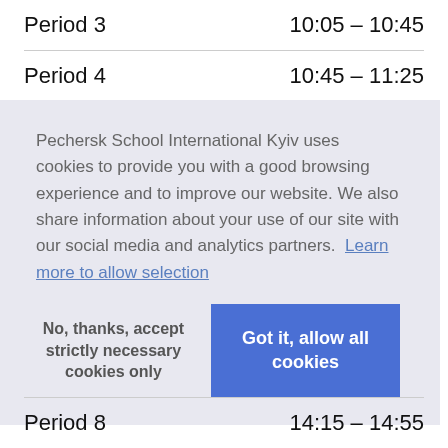| Period | Time |
| --- | --- |
| Period 3 | 10:05 – 10:45 |
| Period 4 | 10:45 – 11:25 |
Pechersk School International Kyiv uses cookies to provide you with a good browsing experience and to improve our website. We also share information about your use of our site with our social media and analytics partners. Learn more to allow selection
No, thanks, accept strictly necessary cookies only
Got it, allow all cookies
| Period | Time |
| --- | --- |
| Period 8 | 14:15 – 14:55 |